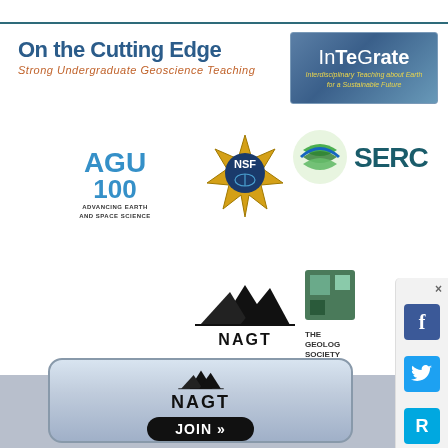[Figure (logo): On the Cutting Edge - Strong Undergraduate Geoscience Teaching logo with blue and orange text]
[Figure (logo): InTeGrate - Interdisciplinary Teaching about Earth for a Sustainable Future logo]
[Figure (logo): AGU 100 Advancing Earth and Space Science logo]
[Figure (logo): NSF National Science Foundation logo]
[Figure (logo): SERC logo with green globe icon]
[Figure (logo): NAGT National Association of Geoscience Teachers logo with mountain peaks]
[Figure (logo): The Geological Society of America logo]
[Figure (logo): NAGT Join button banner with mountain background]